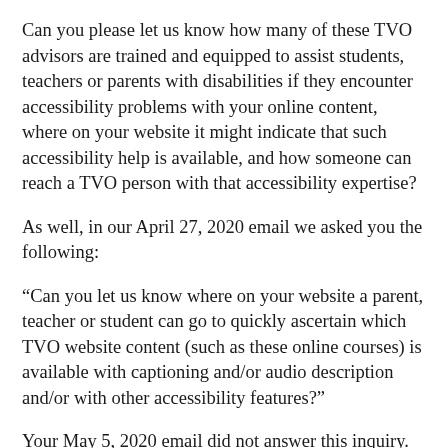Can you please let us know how many of these TVO advisors are trained and equipped to assist students, teachers or parents with disabilities if they encounter accessibility problems with your online content, where on your website it might indicate that such accessibility help is available, and how someone can reach a TVO person with that accessibility expertise?
As well, in our April 27, 2020 email we asked you the following:
“Can you let us know where on your website a parent, teacher or student can go to quickly ascertain which TVO website content (such as these online courses) is available with captioning and/or audio description and/or with other accessibility features?”
Your May 5, 2020 email did not answer this inquiry. We could not find this information on TVO’s website. A